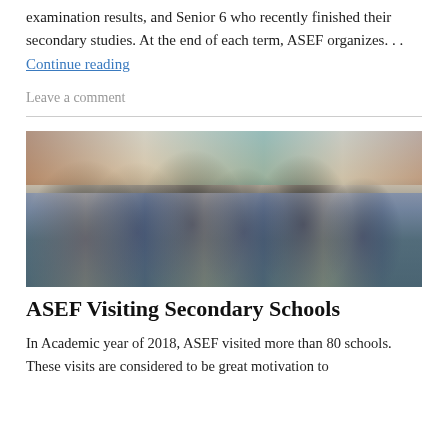examination results, and Senior 6 who recently finished their secondary studies. At the end of each term, ASEF organizes. . . Continue reading
Leave a comment
[Figure (photo): Group photo of students in white shirts and blue pants/skirts school uniforms standing in front of a brick building]
ASEF Visiting Secondary Schools
In Academic year of 2018, ASEF visited more than 80 schools. These visits are considered to be great motivation to